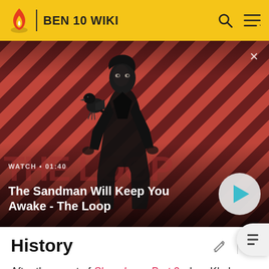BEN 10 WIKI
[Figure (screenshot): Video thumbnail for 'The Sandman Will Keep You Awake - The Loop' showing a dark-dressed figure with a raven on shoulder against red diagonal stripe background. WATCH • 01:40 label and play button visible.]
History
After the event of Showdown: Part 2 when Khyber lost Zed, he went to find himself a new hunting pet to replace